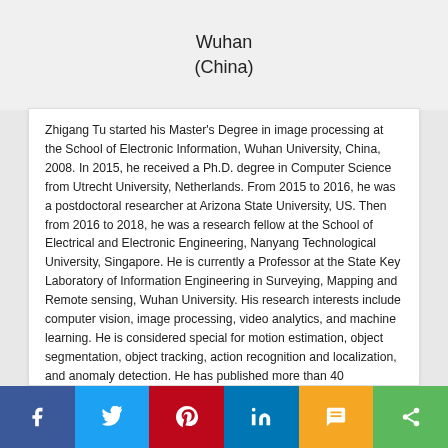Wuhan
(China)
Zhigang Tu started his Master's Degree in image processing at the School of Electronic Information, Wuhan University, China, 2008. In 2015, he received a Ph.D. degree in Computer Science from Utrecht University, Netherlands. From 2015 to 2016, he was a postdoctoral researcher at Arizona State University, US. Then from 2016 to 2018, he was a research fellow at the School of Electrical and Electronic Engineering, Nanyang Technological University, Singapore. He is currently a Professor at the State Key Laboratory of Information Engineering in Surveying, Mapping and Remote sensing, Wuhan University. His research interests include computer vision, image processing, video analytics, and machine learning. He is considered special for motion estimation, object segmentation, object tracking, action recognition and localization, and anomaly detection. He has published more than 40